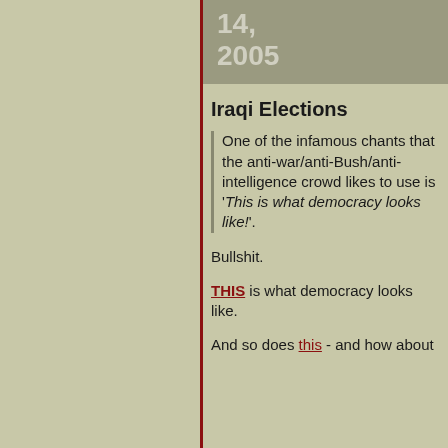14, 2005
Iraqi Elections
One of the infamous chants that the anti-war/anti-Bush/anti-intelligence crowd likes to use is 'This is what democracy looks like!'.
Bullshit.
THIS is what democracy looks like.
And so does this - and how about
ere
gger stuff here
tuff
761
.25
ere
- February 13, 2010
9 - November 21,
October 24, 2009
October 17, 2009
October 10, 2009
9 - October 03,
August 29, 2009
ust 01, 2009
ne 13, 2009
y 16, 2009
y 09, 2009
y 02, 2009
il 18, 2009
pril 04, 2009
larch 28, 2009
- February 14, 2009
January 17, 2009
8 - November 08,